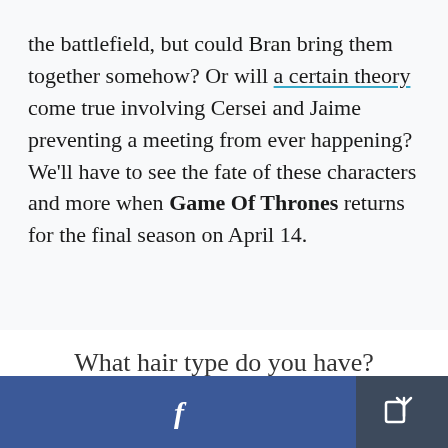the battlefield, but could Bran bring them together somehow? Or will a certain theory come true involving Cersei and Jaime preventing a meeting from ever happening? We'll have to see the fate of these characters and more when Game Of Thrones returns for the final season on April 14.
What hair type do you have?
[Figure (other): Mobile app footer bar with Facebook share button (blue) and general share button (dark)]